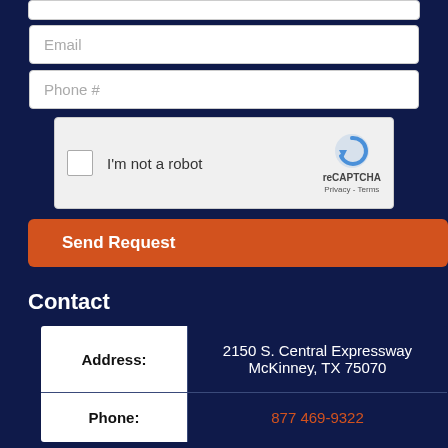[Figure (screenshot): Form field placeholder — top partial field (white box)]
Email
Phone #
[Figure (other): reCAPTCHA widget with checkbox labeled I'm not a robot, reCAPTCHA logo, Privacy and Terms links]
Send Request
Contact
|  |  |
| --- | --- |
| Address: | 2150 S. Central Expressway
McKinney, TX 75070 |
| Phone: | 877 469-9322 |